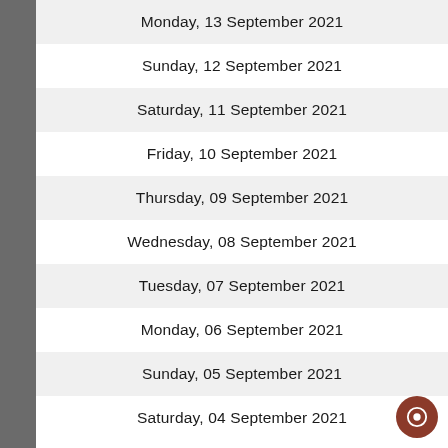Monday, 13 September 2021
Sunday, 12 September 2021
Saturday, 11 September 2021
Friday, 10 September 2021
Thursday, 09 September 2021
Wednesday, 08 September 2021
Tuesday, 07 September 2021
Monday, 06 September 2021
Sunday, 05 September 2021
Saturday, 04 September 2021